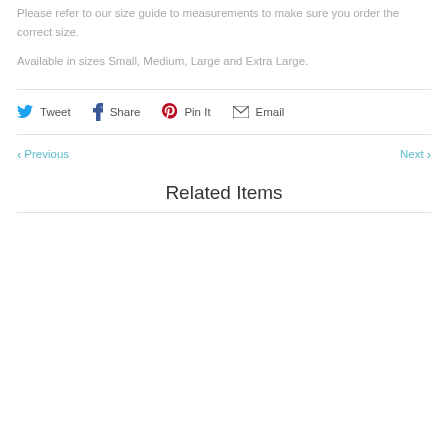Please refer to our size guide to measurements to make sure you order the correct size.
Available in sizes Small, Medium, Large and Extra Large.
Tweet  Share  Pin It  Email
< Previous   Next >
Related Items